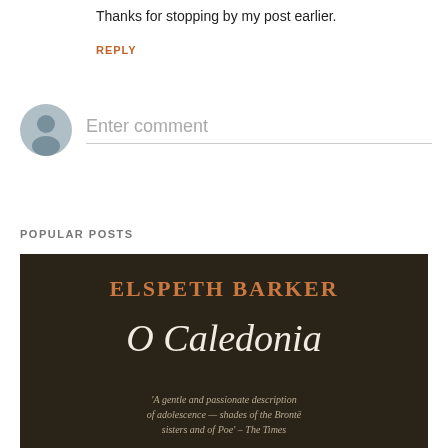Thanks for stopping by my post earlier.
REPLY
Enter comment
POPULAR POSTS
[Figure (photo): Book cover of 'O Caledonia' by Elspeth Barker. Dark background with author name in orange-brown serif capitals at top, title in large white italic serif text in the middle, and a small review quote at the bottom reading: 'A gentle and passionate description of adolescence — shades of the Brontë sisters and of Poe' – The Times]